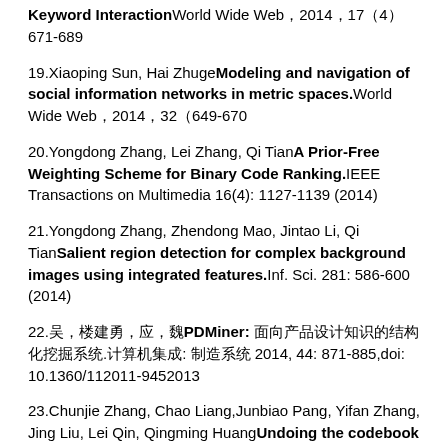Keyword InteractionWorld Wide Web，2014，17（4）671-689
19.Xiaoping Sun, Hai ZhugeModeling and navigation of social information networks in metric spaces.World Wide Web，2014，32（649-670
20.Yongdong Zhang, Lei Zhang, Qi TianA Prior-Free Weighting Scheme for Binary Code Ranking.IEEE Transactions on Multimedia 16(4): 1127-1139 (2014)
21.Yongdong Zhang, Zhendong Mao, Jintao Li, Qi TianSalient region detection for complex background images using integrated features.Inf. Sci. 281: 586-600 (2014)
22.吴，楼建勇，应，魏PDMiner: 面向产品设计知识的结构化挖掘系统.计算机集成: 制造系统 2014, 44: 871-885,doi: 10.1360/112011-9452013
23.Chunjie Zhang, Chao Liang,Junbiao Pang, Yifan Zhang, Jing Liu, Lei Qin, Qingming HuangUndoing the codebook bias by linear transformation with matrix factorization for robust image retrieval.